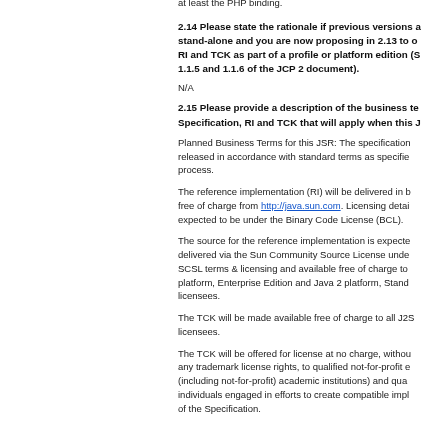top of the Servlet and JSP Reference Implementations and at least the PHP binding.
2.14 Please state the rationale if previous versions a stand-alone and you are now proposing in 2.13 to o RI and TCK as part of a profile or platform edition (S 1.1.5 and 1.1.6 of the JCP 2 document).
N/A
2.15 Please provide a description of the business te Specification, RI and TCK that will apply when this J
Planned Business Terms for this JSR: The specification released in accordance with standard terms as specifie process.
The reference implementation (RI) will be delivered in b free of charge from http://java.sun.com. Licensing detai expected to be under the Binary Code License (BCL).
The source for the reference implementation is expecte delivered via the Sun Community Source License unde SCSL terms & licensing and available free of charge to platform, Enterprise Edition and Java 2 platform, Stand licensees.
The TCK will be made available free of charge to all J2S licensees.
The TCK will be offered for license at no charge, withou any trademark license rights, to qualified not-for-profit e (including not-for-profit) academic institutions) and qua individuals engaged in efforts to create compatible impl of the Specification.